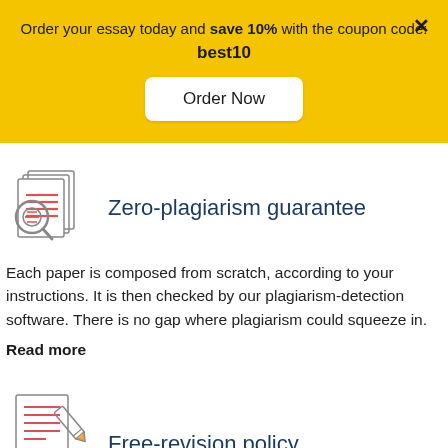Order your essay today and save 10% with the coupon code: best10
Order Now
[Figure (illustration): Icon of documents with a magnifying glass, lines on paper in red]
Zero-plagiarism guarantee
Each paper is composed from scratch, according to your instructions. It is then checked by our plagiarism-detection software. There is no gap where plagiarism could squeeze in.
Read more
[Figure (illustration): Icon of a document with a pencil/pen, red lined paper]
Free-revision policy